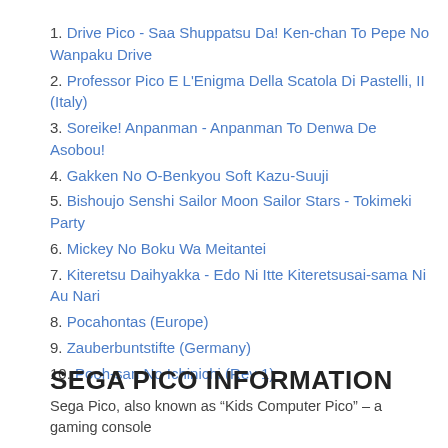1. Drive Pico - Saa Shuppatsu Da! Ken-chan To Pepe No Wanpaku Drive
2. Professor Pico E L'Enigma Della Scatola Di Pastelli, II (Italy)
3. Soreike! Anpanman - Anpanman To Denwa De Asobou!
4. Gakken No O-Benkyou Soft Kazu-Suuji
5. Bishoujo Senshi Sailor Moon Sailor Stars - Tokimeki Party
6. Mickey No Boku Wa Meitantei
7. Kiteretsu Daihyakka - Edo Ni Itte Kiteretsusai-sama Ni Au Nari
8. Pocahontas (Europe)
9. Zauberbuntstifte (Germany)
10. Pooh-san No Ichinichi (Rev 1)
SEGA PICO INFORMATION
Sega Pico, also known as “Kids Computer Pico” – a gaming console